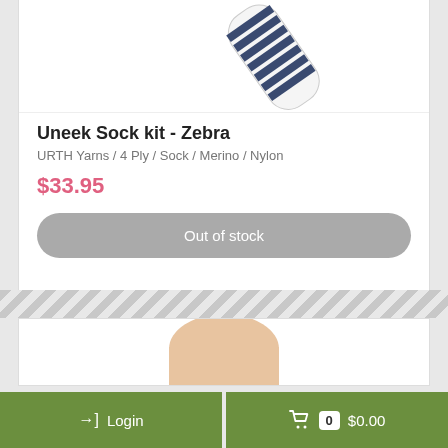[Figure (photo): Partial view of striped knit sock in white and navy blue, shown at an angle from the top]
Uneek Sock kit - Zebra
URTH Yarns / 4 Ply / Sock / Merino / Nylon
$33.95
Out of stock
[Figure (photo): Partial view of a striped colorful knit sock in blue, green, and grey tones, worn on a leg]
Login
$0.00